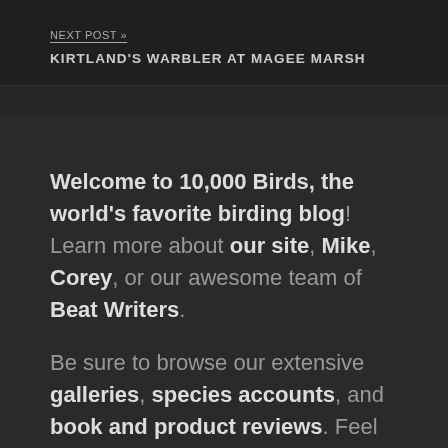NEXT POST »
KIRTLAND'S WARBLER AT MAGEE MARSH
Welcome to 10,000 Birds, the world's favorite birding blog! Learn more about our site, Mike, Corey, or our awesome team of Beat Writers.
Be sure to browse our extensive galleries, species accounts, and book and product reviews. Feel free to contact us and don't forget to